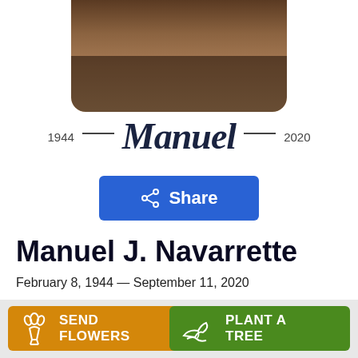[Figure (photo): Sepia/vintage portrait photo of Manuel, partially visible, cropped at top, shown in a rounded-bottom rectangle frame]
1944 — Manuel — 2020
[Figure (other): Blue 'Share' button with share icon]
Manuel J. Navarrette
February 8, 1944 — September 11, 2020
[Figure (other): Orange 'Send Flowers' button with flower bouquet icon]
[Figure (other): Green 'Plant a Tree' button with seedling icon]